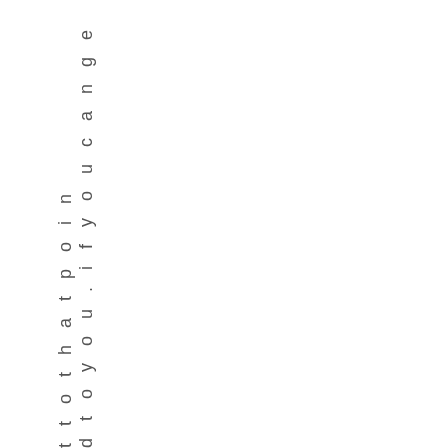d t o y o u . i f y o u c a n g e t t o t h a t p o i n